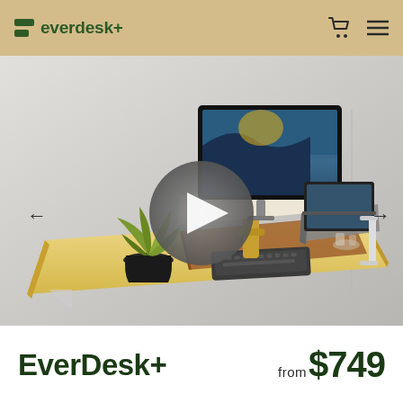everdesk+
[Figure (photo): Standing desk product photo showing a wall-mounted wooden desk with a monitor on a stand, a laptop, a plant in a black pot, and a keyboard on a brown leather mat. A video play button overlay is shown in the center of the image. Navigation arrows appear on left and right sides.]
EverDesk+
from $749